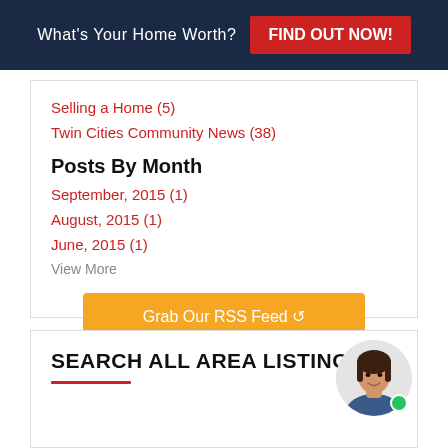What's Your Home Worth? FIND OUT NOW!
Selling a Home  (5)
Twin Cities Community News  (38)
Posts By Month
September, 2015  (1)
August, 2015  (1)
June, 2015  (1)
View More
Grab Our RSS Feed
SEARCH ALL AREA LISTINGS